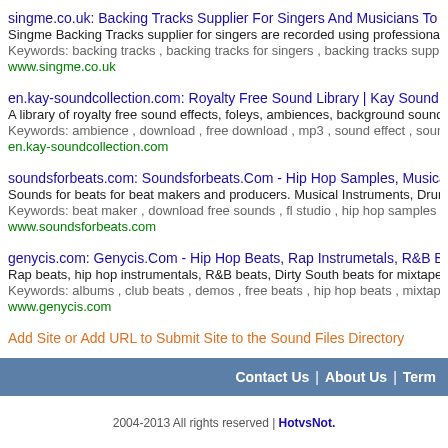singme.co.uk: Backing Tracks Supplier For Singers And Musicians To Download
Singme Backing Tracks supplier for singers are recorded using professional musicians. Wi
Keywords: backing tracks , backing tracks for singers , backing tracks supplier
www.singme.co.uk
en.kay-soundcollection.com: Royalty Free Sound Library | Kay Sound Collection
A library of royalty free sound effects, foleys, ambiences, background sounds for audio vis
Keywords: ambience , download , free download , mp3 , sound effect , sound library
en.kay-soundcollection.com
soundsforbeats.com: Soundsforbeats.Com - Hip Hop Samples, Musical Instruments, Soun
Sounds for beats for beat makers and producers. Musical Instruments, Drum Kits, and Hip
Keywords: beat maker , download free sounds , fl studio , hip hop samples , musical instru
www.soundsforbeats.com
genycis.com: Genycis.Com - Hip Hop Beats, Rap Instrumetals, R&B Beats For Mixtapes,
Rap beats, hip hop instrumentals, R&B beats, Dirty South beats for mixtapes, demos, albu
Keywords: albums , club beats , demos , free beats , hip hop beats , mixtapes , r&b instrum
www.genycis.com
Add Site or Add URL to Submit Site to the Sound Files Directory
Contact Us | About Us | Term
2004-2013 All rights reserved | HotvsNot.